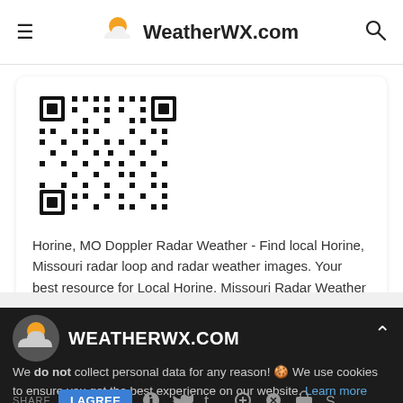WeatherWX.com
[Figure (other): QR code for WeatherWX.com Horine MO Doppler Radar Weather page]
Horine, MO Doppler Radar Weather - Find local Horine, Missouri radar loop and radar weather images. Your best resource for Local Horine, Missouri Radar Weather Imagery!
WEATHERWX.COM
We do not collect personal data for any reason! 🍪 We use cookies to ensure you get the best experience on our website. Learn more
SHARE | I AGREE